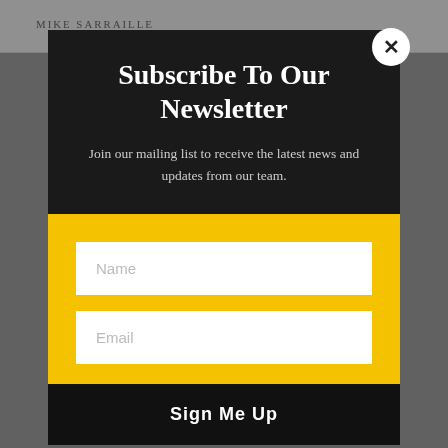Mike Sarraille
Subscribe To Our Newsletter
Join our mailing list to receive the latest news and updates from our team.
Name
Email
Sign Me Up